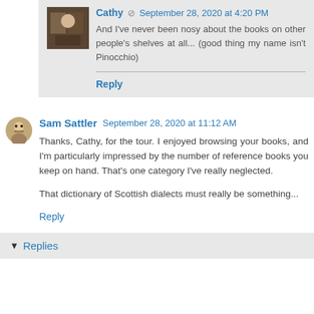Cathy • September 28, 2020 at 4:20 PM
And I've never been nosy about the books on other people's shelves at all... (good thing my name isn't Pinocchio)
Reply
Sam Sattler   September 28, 2020 at 11:12 AM
Thanks, Cathy, for the tour. I enjoyed browsing your books, and I'm particularly impressed by the number of reference books you keep on hand. That's one category I've really neglected.

That dictionary of Scottish dialects must really be something...
Reply
▼ Replies